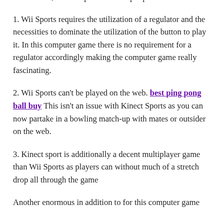one another, Kinect Sports comes up top there:
1. Wii Sports requires the utilization of a regulator and the necessities to dominate the utilization of the button to play it. In this computer game there is no requirement for a regulator accordingly making the computer game really fascinating.
2. Wii Sports can't be played on the web. best ping pong ball buy This isn't an issue with Kinect Sports as you can now partake in a bowling match-up with mates or outsider on the web.
3. Kinect sport is additionally a decent multiplayer game than Wii Sports as players can without much of a stretch drop all through the game
Another enormous in addition to for this computer game